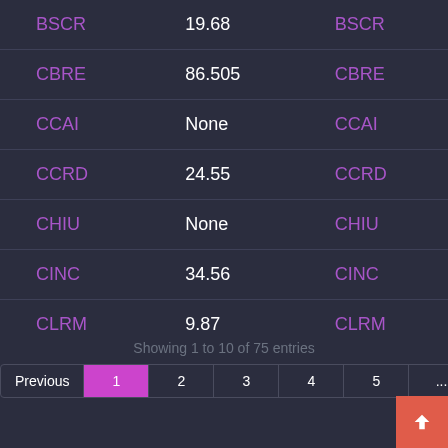| Ticker | Value | Ticker2 |
| --- | --- | --- |
| BSCR | 19.68 | BSCR |
| CBRE | 86.505 | CBRE |
| CCAI | None | CCAI |
| CCRD | 24.55 | CCRD |
| CHIU | None | CHIU |
| CINC | 34.56 | CINC |
| CLRM | 9.87 | CLRM |
Showing 1 to 10 of 75 entries
Previous 1 2 3 4 5 ... 8 Next